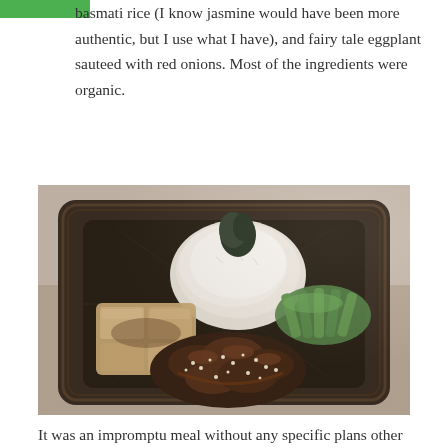basmati rice (I know jasmine would have been more authentic, but I use what I have), and fairy tale eggplant sauteed with red onions. Most of the ingredients were organic.
[Figure (photo): A square plate with striped rim holding a plated Asian-style meal: a mound of white rice in the center-back, green vegetables (likely bok choy or asparagus) on the right, cubed tofu on the left, and dark glazed meat with sesame seeds in the front center.]
It was an impromptu meal without any specific plans other